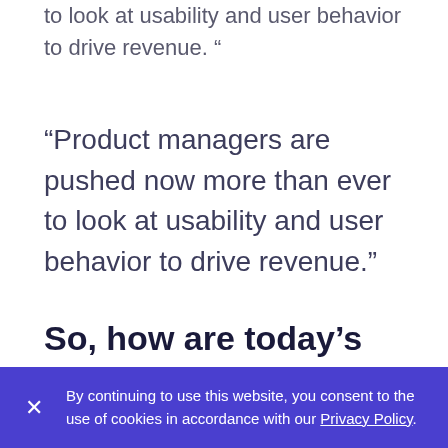to look at usability and user behavior to drive revenue. “
“Product managers are pushed now more than ever to look at usability and user behavior to drive revenue.”
So, how are today’s product teams leveraging data to decisions in their
By continuing to use this website, you consent to the use of cookies in accordance with our Privacy Policy.